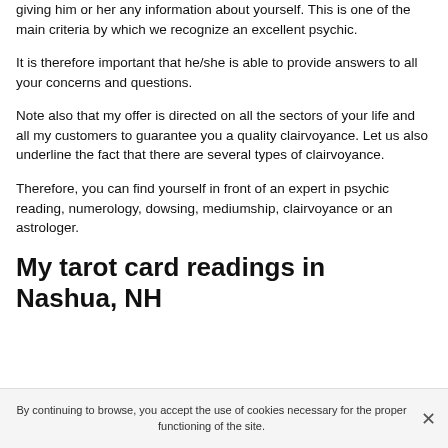giving him or her any information about yourself. This is one of the main criteria by which we recognize an excellent psychic.
It is therefore important that he/she is able to provide answers to all your concerns and questions.
Note also that my offer is directed on all the sectors of your life and all my customers to guarantee you a quality clairvoyance. Let us also underline the fact that there are several types of clairvoyance.
Therefore, you can find yourself in front of an expert in psychic reading, numerology, dowsing, mediumship, clairvoyance or an astrologer.
My tarot card readings in Nashua, NH
By continuing to browse, you accept the use of cookies necessary for the proper functioning of the site.